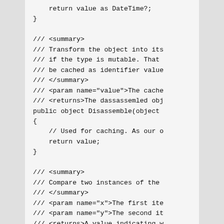return value as DateTime?;
}

/// <summary>
/// Transform the object into its
/// if the type is mutable. That
/// be cached as identifier value
/// </summary>
/// <param name="value">The cache
/// <returns>The dassassemled obj
public object Disassemble(object
{
    // Used for caching. As our o
    return value;
}

/// <summary>
/// Compare two instances of the
/// </summary>
/// <param name="x">The first ite
/// <param name="y">The second it
/// <returns>A value indicating w
public new bool Equals(object x,